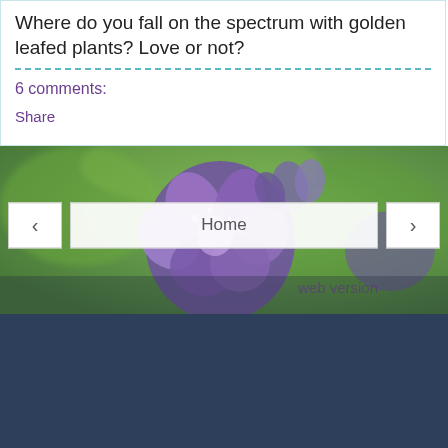Where do you fall on the spectrum with golden leafed plants? Love or not?
6 comments:
Share
[Figure (photo): Purple/lavender flowers (likely salvia or sage) with green blurred background, with navigation buttons (< Home >) overlaid and 'web version' text]
[Figure (other): Dark navy/slate colored background section at the bottom of the page]